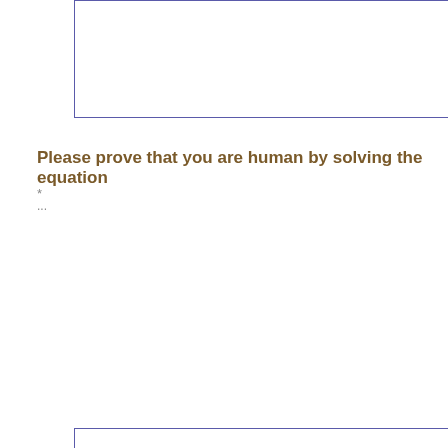[Figure (other): Text area input box with blue border and resize handle in bottom-right corner]
Please prove that you are human by solving the equation
* ...
[Figure (other): Text input field with blue border containing placeholder text '2 + 2 = ?']
[Figure (other): Submit button with gray-brown background and white text 'Submit']
[Figure (other): Light gray footer/bottom section box]